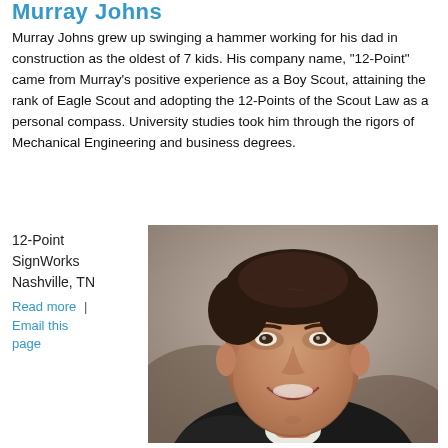Murray Johns
Murray Johns grew up swinging a hammer working for his dad in construction as the oldest of 7 kids. His company name, "12-Point" came from Murray's positive experience as a Boy Scout, attaining the rank of Eagle Scout and adopting the 12-Points of the Scout Law as a personal compass. University studies took him through the rigors of Mechanical Engineering and business degrees.
12-Point SignWorks
Nashville, TN
Read more  |  Email this page
[Figure (photo): Portrait photo of Murray Johns, a man with dark hair, smiling, wearing a dark jacket, photographed outdoors]